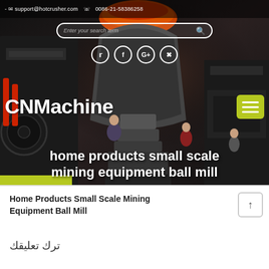- support@hotcrusher.com  0086-21-58386258
[Figure (screenshot): Industrial mining equipment (cone crusher/ball mill) with people posing around it, used as hero background image for CNMachine website]
CNMachine
home products small scale mining equipment ball mill
Home Products Small Scale Mining Equipment Ball Mill
ترك تعليقك